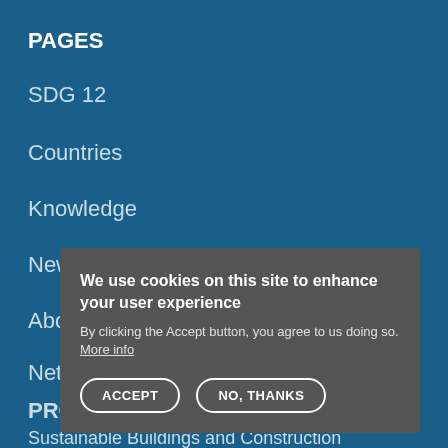PAGES
SDG 12
Countries
Knowledge
News & Events
About
Network
PROGRAMMES
Consumption and Production
Sustainable Buildings and Construction
We use cookies on this site to enhance your user experience
By clicking the Accept button, you agree to us doing so. More info
ACCEPT
NO, THANKS